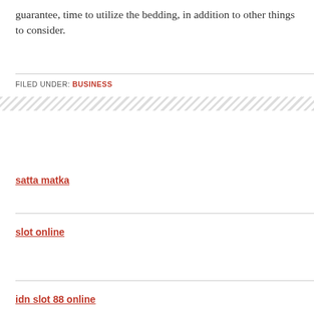guarantee, time to utilize the bedding, in addition to other things to consider.
FILED UNDER: BUSINESS
satta matka
slot online
idn slot 88 online